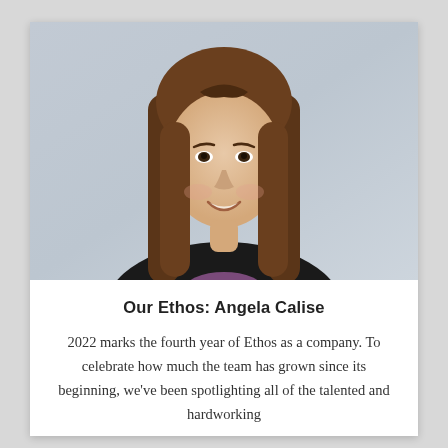[Figure (photo): Professional headshot of a young woman with long brown hair, wearing a black blazer and purple top, smiling, against a light grey background.]
Our Ethos: Angela Calise
2022 marks the fourth year of Ethos as a company. To celebrate how much the team has grown since its beginning, we've been spotlighting all of the talented and hardworking